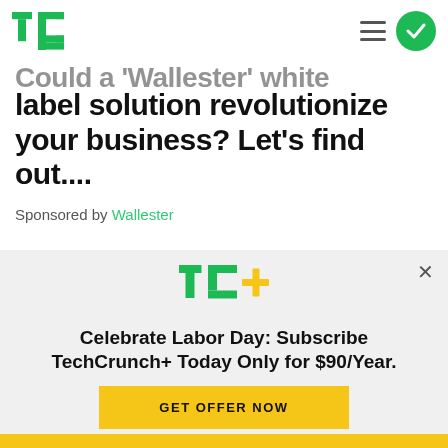[Figure (logo): TechCrunch TC logo in green]
Could a 'Wallester' white label solution revolutionize your business? Let's find out....
Sponsored by Wallester
[Figure (logo): TechCrunch TC+ logo in green with plus in yellow-green]
Celebrate Labor Day: Subscribe TechCrunch+ Today Only for $90/Year.
GET OFFER NOW